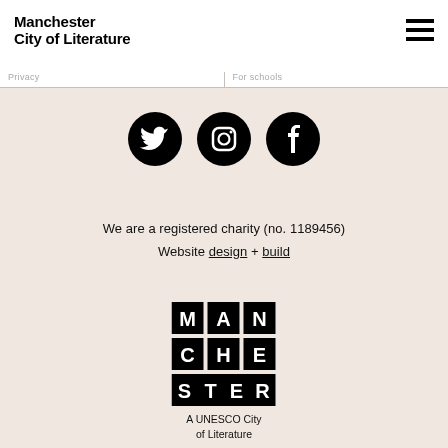Manchester City of Literature
Privacy    For schools
[Figure (illustration): Three social media icons (Twitter, Instagram, Facebook) as white icons on black circles]
We are a registered charity (no. 1189456)
Website design + build
[Figure (logo): Manchester UNESCO City of Literature logo with blocky letter grid spelling MAN-CHE-STER and text 'A UNESCO City of Literature']